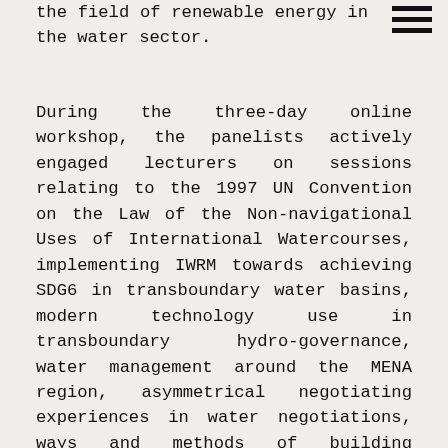...solutions by supporting the use of applied research in the field of renewable energy in the water sector.
During the three-day online workshop, the panelists actively engaged lecturers on sessions relating to the 1997 UN Convention on the Law of the Non-navigational Uses of International Watercourses, implementing IWRM towards achieving SDG6 in transboundary water basins, modern technology use in transboundary hydro-governance, water management around the MENA region, asymmetrical negotiating experiences in water negotiations, ways and methods of building negotiation skills and examples of cross-border water negotiations and agreements, for example in the Nile Basin. The course, provided by a group of professors and international experts, was attended by 70 participants from various local and national institutions, international organizations, university professors, and researchers from Jordan, Lebanon, Palestine, and Syria, as well as Portugal, Spain, Turkey, the United Kingdom, and the